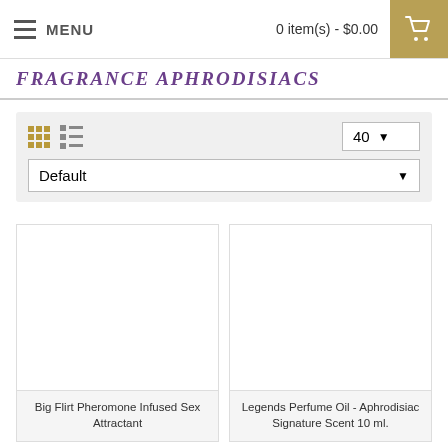MENU  |  0 item(s) - $0.00
FRAGRANCE APHRODISIACS
40  Default
[Figure (screenshot): Product card placeholder image area for Big Flirt Pheromone Infused Sex Attractant]
Big Flirt Pheromone Infused Sex Attractant
[Figure (screenshot): Product card placeholder image area for Legends Perfume Oil - Aphrodisiac Signature Scent 10 ml.]
Legends Perfume Oil - Aphrodisiac Signature Scent 10 ml.